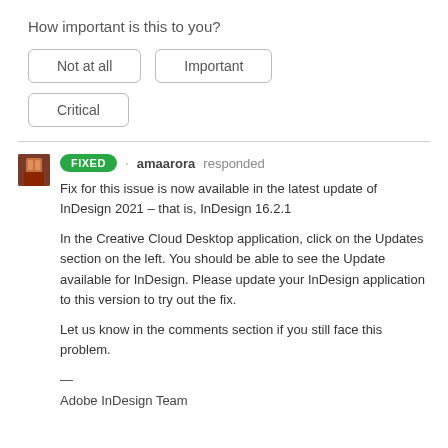How important is this to you?
Not at all
Important
Critical
FIXED · amaarora responded
Fix for this issue is now available in the latest update of InDesign 2021 – that is, InDesign 16.2.1

In the Creative Cloud Desktop application, click on the Updates section on the left. You should be able to see the Update available for InDesign. Please update your InDesign application to this version to try out the fix.

Let us know in the comments section if you still face this problem.

—
Adobe InDesign Team